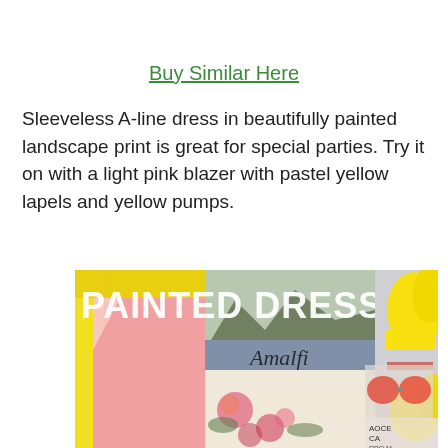Buy Similar Here
Sleeveless A-line dress in beautifully painted landscape print is great for special parties. Try it on with a light pink blazer with pastel yellow lapels and yellow pumps.
[Figure (photo): Fashion collage showing painted dress outfit with text 'PAINTED DRESS' and 'Amalfi', featuring a pink blazer with yellow lapels, a landscape-print dress, yellow pumps, and sunglasses.]